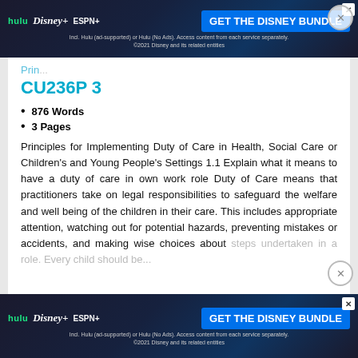[Figure (screenshot): Disney Bundle advertisement banner at top: hulu, Disney+, ESPN+ logos, GET THE DISNEY BUNDLE button, subtext about Hulu plans. ©2021 Disney and its related entities.]
Prin...
CU236P 3
876 Words
3 Pages
Principles for Implementing Duty of Care in Health, Social Care or Children's and Young People's Settings 1.1 Explain what it means to have a duty of care in own work role Duty of Care means that practitioners take on legal responsibilities to safeguard the welfare and well being of the children in their care. This includes appropriate attention, watching out for potential hazards, preventing mistakes or accidents, and making wise choices about steps undertaken in a role. Every child should be...
[Figure (screenshot): Disney Bundle advertisement banner at bottom: hulu, Disney+, ESPN+ logos, GET THE DISNEY BUNDLE button, subtext about Hulu plans. ©2021 Disney and its related entities.]